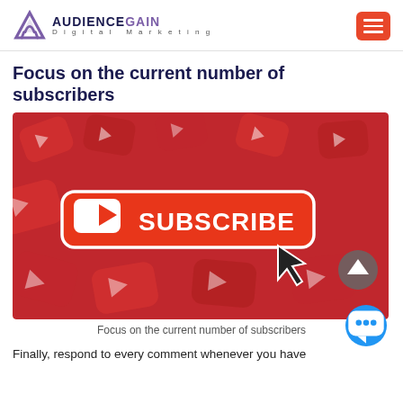AUDIENCEGAIN Digital Marketing
Focus on the current number of subscribers
[Figure (photo): A photo showing many red YouTube play button icons piled together, with a large red Subscribe button in the center and a cursor arrow pointing at it. A chat bubble icon appears in the lower right.]
Focus on the current number of subscribers
Finally, respond to every comment whenever you have